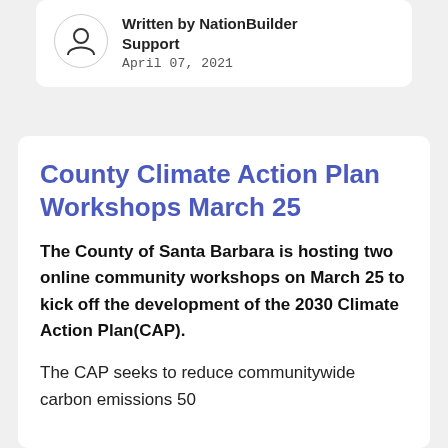Written by NationBuilder Support
April 07, 2021
County Climate Action Plan Workshops March 25
The County of Santa Barbara is hosting two online community workshops on March 25 to kick off the development of the 2030 Climate Action Plan(CAP).
The CAP seeks to reduce communitywide carbon emissions 50